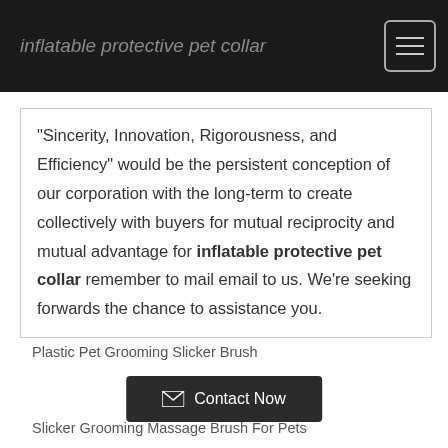inflatable protective pet collar
"Sincerity, Innovation, Rigorousness, and Efficiency" would be the persistent conception of our corporation with the long-term to create collectively with buyers for mutual reciprocity and mutual advantage for inflatable protective pet collar remember to mail email to us. We're seeking forwards the chance to assistance you.
Plastic Pet Grooming Slicker Brush
Contact Now
Slicker Grooming Massage Brush For Pets